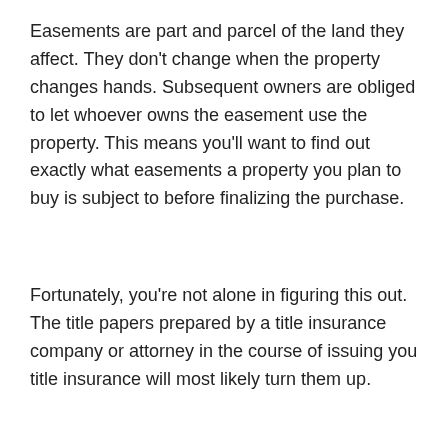Easements are part and parcel of the land they affect. They don't change when the property changes hands. Subsequent owners are obliged to let whoever owns the easement use the property. This means you'll want to find out exactly what easements a property you plan to buy is subject to before finalizing the purchase.
Fortunately, you're not alone in figuring this out. The title papers prepared by a title insurance company or attorney in the course of issuing you title insurance will most likely turn them up.